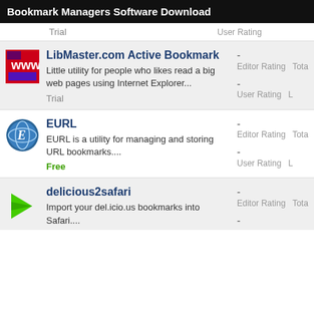Bookmark Managers Software Download
Trial
User Rating
LibMaster.com Active Bookmark
-
Editor Rating
Tota
Little utility for people who likes read a big web pages using Internet Explorer...
-
User Rating
Trial
EURL
-
Editor Rating
Tota
EURL is a utility for managing and storing URL bookmarks....
-
User Rating
Free
delicious2safari
-
Editor Rating
Tota
Import your del.icio.us bookmarks into Safari....
-